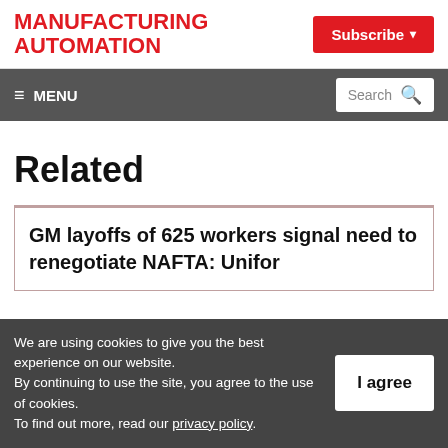MANUFACTURING AUTOMATION
Subscribe
☰ MENU  Search 🔍
Related
GM layoffs of 625 workers signal need to renegotiate NAFTA: Unifor
We are using cookies to give you the best experience on our website. By continuing to use the site, you agree to the use of cookies. To find out more, read our privacy policy.
I agree